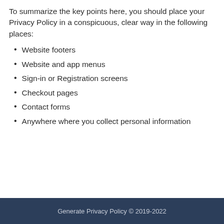To summarize the key points here, you should place your Privacy Policy in a conspicuous, clear way in the following places:
Website footers
Website and app menus
Sign-in or Registration screens
Checkout pages
Contact forms
Anywhere where you collect personal information
Generate Privacy Policy © 2019-2022